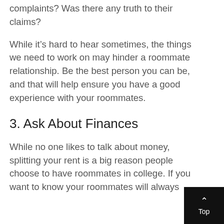complaints? Was there any truth to their claims?
While it’s hard to hear sometimes, the things we need to work on may hinder a roommate relationship. Be the best person you can be, and that will help ensure you have a good experience with your roommates.
3. Ask About Finances
While no one likes to talk about money, splitting your rent is a big reason people choose to have roommates in college. If you want to know your roommates will always